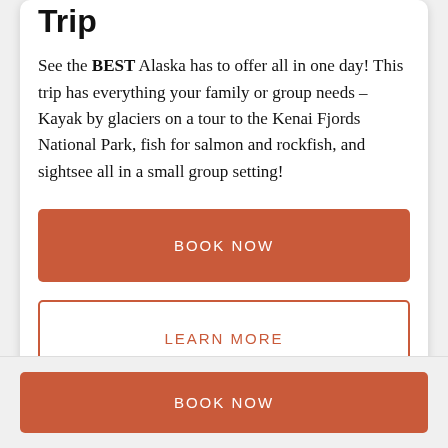Trip
See the BEST Alaska has to offer all in one day! This trip has everything your family or group needs – Kayak by glaciers on a tour to the Kenai Fjords National Park, fish for salmon and rockfish, and sightsee all in a small group setting!
BOOK NOW
LEARN MORE
BOOK NOW